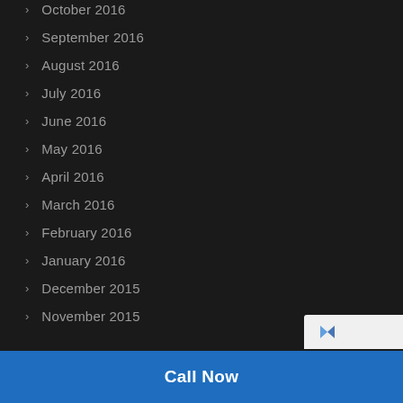October 2016
September 2016
August 2016
July 2016
June 2016
May 2016
April 2016
March 2016
February 2016
January 2016
December 2015
November 2015
Call Now